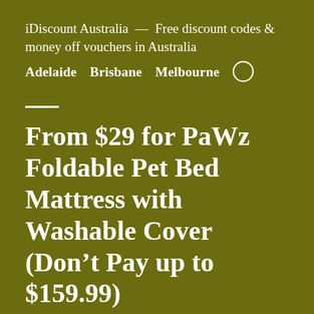iDiscount Australia — Free discount codes & money off vouchers in Australia
Adelaide  Brisbane  Melbourne  •••
—
From $29 for PaWz Foldable Pet Bed Mattress with Washable Cover (Don't Pay up to $159.99)